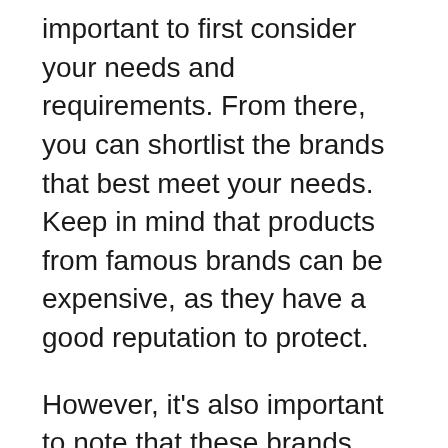important to first consider your needs and requirements. From there, you can shortlist the brands that best meet your needs. Keep in mind that products from famous brands can be expensive, as they have a good reputation to protect.
However, it's also important to note that these brands typically offer high-quality products. If you're looking for a budget-friendly option, you may want to consider brands that are not well-known. If you are looking for a budget-friendly option, you should explore these brands when shopping for best sades sa926 that meets your needs.
Features: